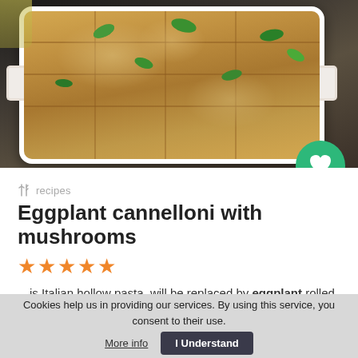[Figure (photo): Overhead photo of baked eggplant cannelloni in a white rectangular baking dish, topped with melted cheese and fresh basil leaves, placed on a dark cloth background]
recipes
Eggplant cannelloni with mushrooms
★★★★★
…is Italian hollow pasta, will be replaced by eggplant rolled into a roll…
Cookies help us in providing our services. By using this service, you consent to their use. More info  I Understand